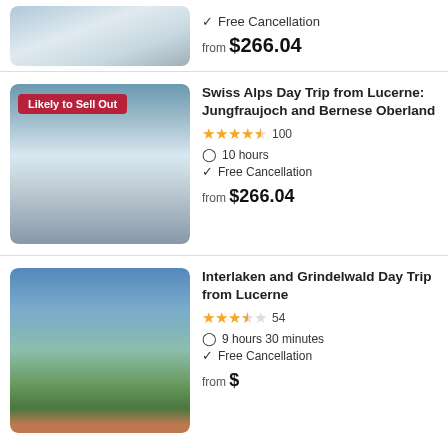[Figure (photo): Top partial listing: snowy mountain aerial view with trees]
Free Cancellation
from $266.04
[Figure (photo): Swiss Alps snowy mountain panorama with badge 'Likely to Sell Out']
Swiss Alps Day Trip from Lucerne: Jungfraujoch and Bernese Oberland
4.5 stars, 100 reviews
10 hours
Free Cancellation
from $266.04
[Figure (photo): Interlaken and Grindelwald valley with mountain and green fields]
Interlaken and Grindelwald Day Trip from Lucerne
3.5 stars, 54 reviews
9 hours 30 minutes
Free Cancellation